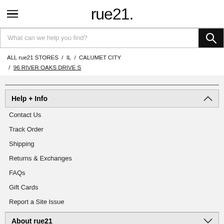rue21
What can we help you find?
ALL rue21 STORES / IL / CALUMET CITY / 96 RIVER OAKS DRIVE S
Help + Info
Contact Us
Track Order
Shipping
Returns & Exchanges
FAQs
Gift Cards
Report a Site Issue
About rue21